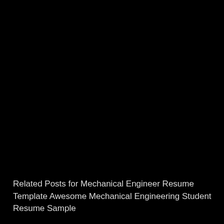Related Posts for Mechanical Engineer Resume Template Awesome Mechanical Engineering Student Resume Sample